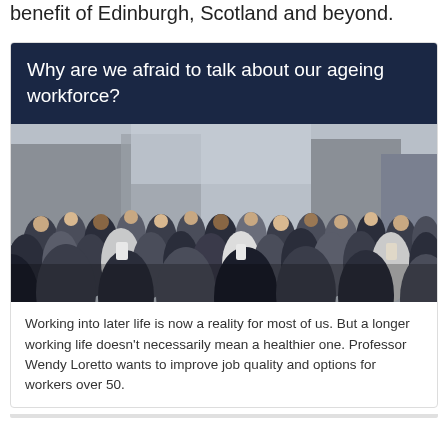benefit of Edinburgh, Scotland and beyond.
Why are we afraid to talk about our ageing workforce?
[Figure (photo): A large crowd of office workers in business attire walking together, photographed from the front. Mix of ages and ethnicities in an urban setting.]
Working into later life is now a reality for most of us. But a longer working life doesn't necessarily mean a healthier one. Professor Wendy Loretto wants to improve job quality and options for workers over 50.